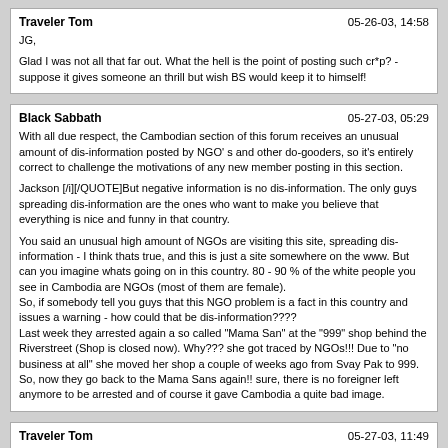Traveler Tom | 05-26-03, 14:58
JG,

Glad I was not all that far out. What the hell is the point of posting such cr*p? - suppose it gives someone an thrill but wish BS would keep it to himself!
Black Sabbath | 05-27-03, 05:29
With all due respect, the Cambodian section of this forum receives an unusual amount of dis-information posted by NGO' s and other do-gooders, so it's entirely correct to challenge the motivations of any new member posting in this section.

Jackson [/i][/QUOTE]But negative information is no dis-information. The only guys spreading dis-information are the ones who want to make you believe that everything is nice and funny in that country.

You said an unusual high amount of NGOs are visiting this site, spreading dis-information - I think thats true, and this is just a site somewhere on the www. But can you imagine whats going on in this country. 80 - 90 % of the white people you see in Cambodia are NGOs (most of them are female).
So, if somebody tell you guys that this NGO problem is a fact in this country and issues a warning - how could that be dis-information????
Last week they arrested again a so called "Mama San" at the "999" shop behind the Riverstreet (Shop is closed now). Why??? she got traced by NGOs!!! Due to "no business at all" she moved her shop a couple of weeks ago from Svay Pak to 999. So, now they go back to the Mama Sans again!! sure, there is no foreigner left anymore to be arrested and of course it gave Cambodia a quite bad image.
Traveler Tom | 05-27-03, 11:49
BS